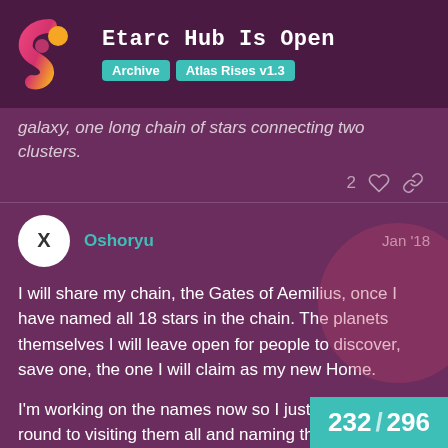Etarc Hub Is Open | Archive | Atlas Rises v1.3
galaxy, one long chain of stars connecting two clusters.
Oshoryu  Jan '18
I will share my chain, the Gates of Aemilius, once I have named all 18 stars in the chain. The planets themselves I will leave open for people to discover, save one, the one I will claim as my new Home.

I'm working on the names now so I just need to get round to visiting them all and naming them!
232 / 296